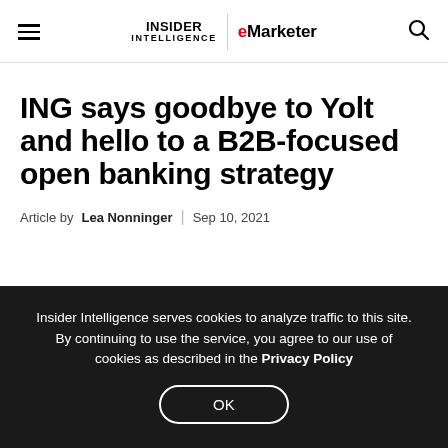INSIDER INTELLIGENCE | eMarketer
ING says goodbye to Yolt and hello to a B2B-focused open banking strategy
Article by Lea Nonninger | Sep 10, 2021
Insider Intelligence serves cookies to analyze traffic to this site. By continuing to use the service, you agree to our use of cookies as described in the Privacy Policy
OK